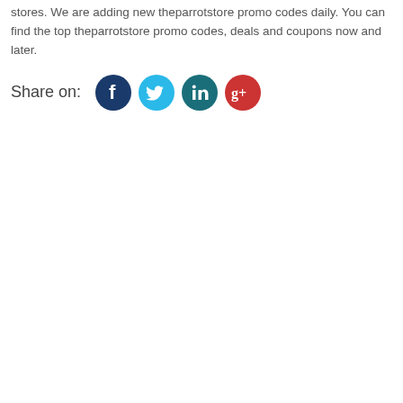stores. We are adding new theparrotstore promo codes daily. You can find the top theparrotstore promo codes, deals and coupons now and later.
[Figure (infographic): Share on: row with social media icons for Facebook (dark blue), Twitter (light blue), LinkedIn (dark teal), and Google+ (red)]